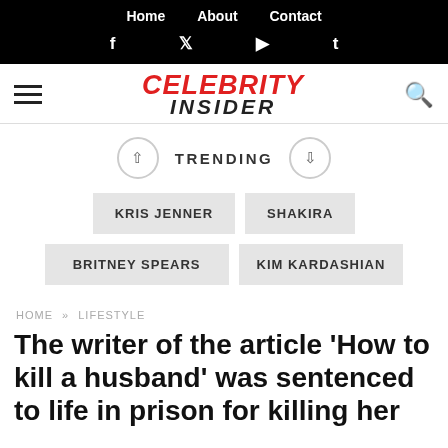Home  About  Contact
f  t  ▶  t (social icons)
[Figure (logo): Celebrity Insider logo with hamburger menu and search icon]
TRENDING
KRIS JENNER  SHAKIRA  BRITNEY SPEARS  KIM KARDASHIAN
HOME » LIFESTYLE
The writer of the article 'How to kill a husband' was sentenced to life in prison for killing her